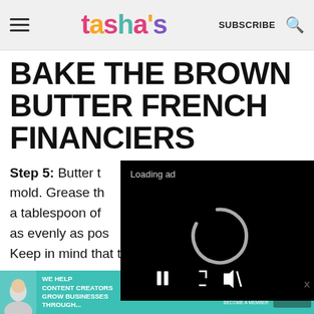tasha's — SUBSCRIBE [search icon]
BAKE THE BROWN BUTTER FRENCH FINANCIERS
Step 5: Butter the mold. Grease the a tablespoon of as evenly as pos Keep in mind that these are teeny tiny,
[Figure (screenshot): Video ad overlay showing 'Loading ad' text, a spinning loading arc, and video controls (pause, expand, mute) on a black background]
[Figure (infographic): Bottom advertisement banner for SHE Partner Network: 'We help content creators grow businesses through...' with a Learn More button]